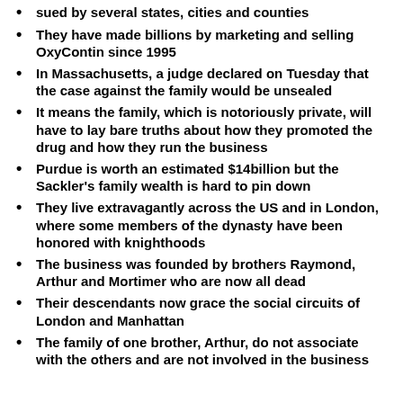sued by several states, cities and counties
They have made billions by marketing and selling OxyContin since 1995
In Massachusetts, a judge declared on Tuesday that the case against the family would be unsealed
It means the family, which is notoriously private, will have to lay bare truths about how they promoted the drug and how they run the business
Purdue is worth an estimated $14billion but the Sackler's family wealth is hard to pin down
They live extravagantly across the US and in London, where some members of the dynasty have been honored with knighthoods
The business was founded by brothers Raymond, Arthur and Mortimer who are now all dead
Their descendants now grace the social circuits of London and Manhattan
The family of one brother, Arthur, do not associate with the others and are not involved in the business